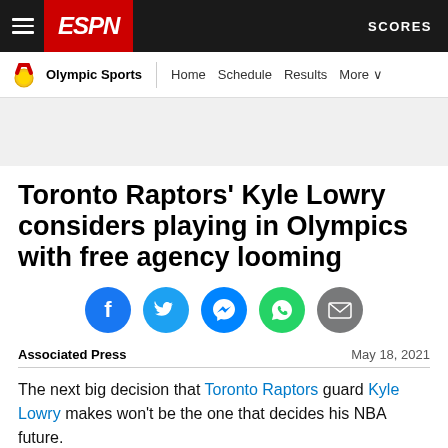ESPN — Olympic Sports | Home | Schedule | Results | More | SCORES
[Figure (screenshot): ESPN website header with hamburger menu, ESPN logo in red, and SCORES button on dark background, followed by Olympic Sports navigation bar with medal icon, Home, Schedule, Results, More links]
Toronto Raptors' Kyle Lowry considers playing in Olympics with free agency looming
[Figure (infographic): Social sharing icons row: Facebook (blue), Twitter (light blue), Messenger (dark blue), WhatsApp (green), Email (gray)]
Associated Press
May 18, 2021
The next big decision that Toronto Raptors guard Kyle Lowry makes won't be the one that decides his NBA future.